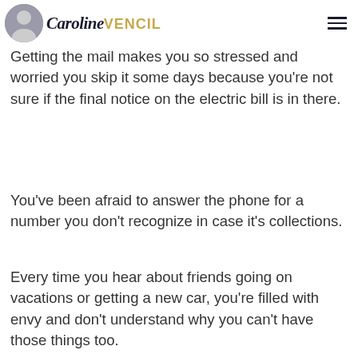Caroline Vencil
No money is going around like crazy. Getting the mail makes you so stressed and worried you skip it some days because you're not sure if the final notice on the electric bill is in there.
You've been afraid to answer the phone for a number you don't recognize in case it's collections.
Every time you hear about friends going on vacations or getting a new car, you're filled with envy and don't understand why you can't have those things too.